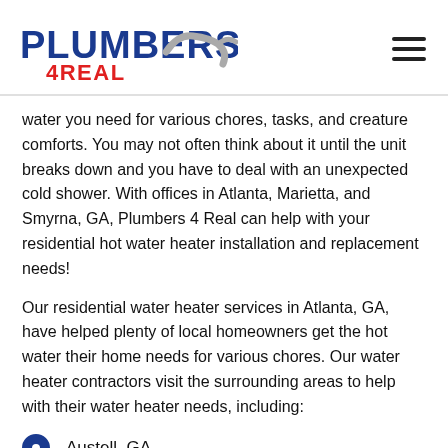Plumbers 4 Real
water you need for various chores, tasks, and creature comforts. You may not often think about it until the unit breaks down and you have to deal with an unexpected cold shower. With offices in Atlanta, Marietta, and Smyrna, GA, Plumbers 4 Real can help with your residential hot water heater installation and replacement needs!
Our residential water heater services in Atlanta, GA, have helped plenty of local homeowners get the hot water their home needs for various chores. Our water heater contractors visit the surrounding areas to help with their water heater needs, including:
Austell, GA